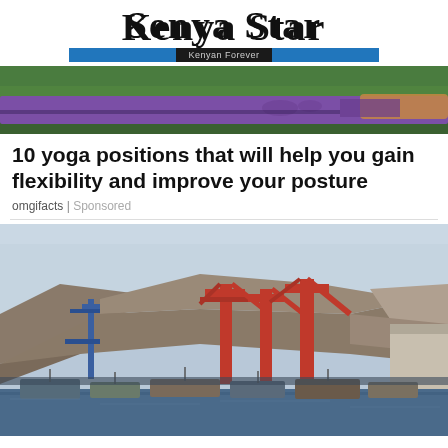Kenya Star — Kenyan Forever
[Figure (photo): Top photo showing a person lying on a purple yoga mat on green grass, partially cropped]
10 yoga positions that will help you gain flexibility and improve your posture
omgifacts | Sponsored
[Figure (photo): Photo of a port with large red cranes and rocky mountains in the background, with boats docked in the foreground]